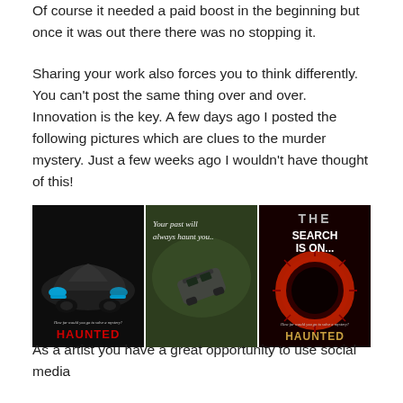Of course it needed a paid boost in the beginning but once it was out there there was no stopping it.
Sharing your work also forces you to think differently. You can't post the same thing over and over. Innovation is the key. A few days ago I posted the following pictures which are clues to the murder mystery. Just a few weeks ago I wouldn't have thought of this!
[Figure (photo): Three promotional images for a murder mystery called HAUNTED. Left panel: dark car with headlights, text 'How far would you go to solve a mystery?' and 'HAUNTED' in red. Center panel: green-tinted image of a tumbling car/object with italic text 'Your past will always haunt you...' Middle panel: dark red with a glowing ring/vortex, 'THE SEARCH IS ON...' and 'HAUNTED' in gold, and 'How far would you go to solve a mystery?']
As a artist you have a great opportunity to use social media